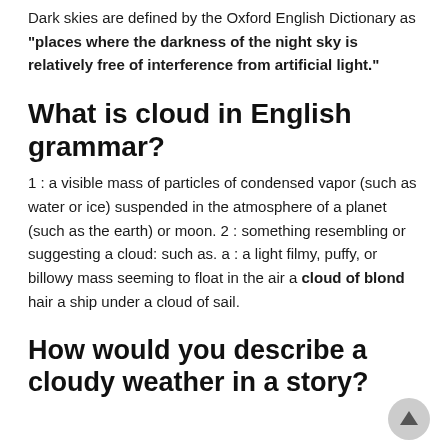Dark skies are defined by the Oxford English Dictionary as "places where the darkness of the night sky is relatively free of interference from artificial light."
What is cloud in English grammar?
1 : a visible mass of particles of condensed vapor (such as water or ice) suspended in the atmosphere of a planet (such as the earth) or moon. 2 : something resembling or suggesting a cloud: such as. a : a light filmy, puffy, or billowy mass seeming to float in the air a cloud of blond hair a ship under a cloud of sail.
How would you describe a cloudy weather in a story?